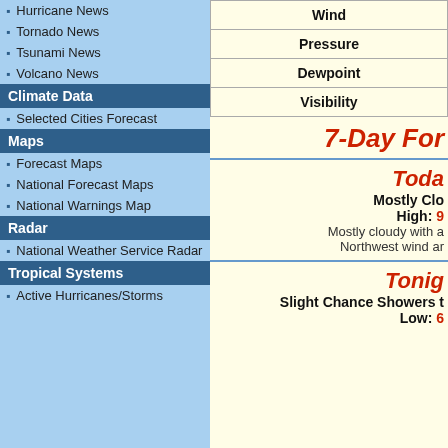Hurricane News
Tornado News
Tsunami News
Volcano News
Climate Data
Selected Cities Forecast
Maps
Forecast Maps
National Forecast Maps
National Warnings Map
Radar
National Weather Service Radar
Tropical Systems
Active Hurricanes/Storms
| Wind |
| Pressure |
| Dewpoint |
| Visibility |
7-Day Forecast
Today
Mostly Cloudy
High: 9[truncated]
Mostly cloudy with a... Northwest wind ar...
Tonight
Slight Chance Showers...
Low: 6[truncated]